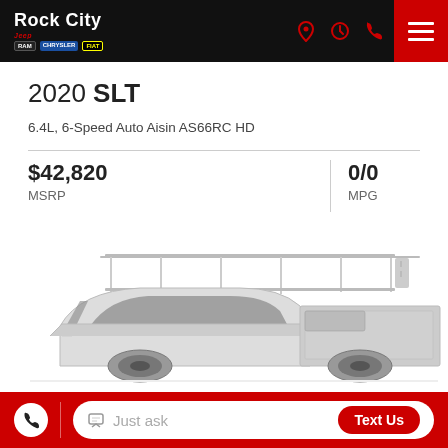Rock City Jeep — navigation header with location, hours, phone icons and hamburger menu
2020 SLT
6.4L, 6-Speed Auto Aisin AS66RC HD
$42,820 MSRP
0/0 MPG
[Figure (photo): Silver pickup truck with ladder rack and utility bed visible from the front-right side, partially cropped at bottom of page]
Just ask — Text Us — call and chat bottom action bar